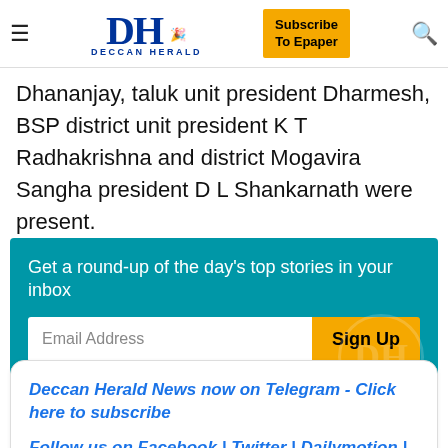DH DECCAN HERALD | Subscribe To Epaper
Dhananjay, taluk unit president Dharmesh, BSP district unit president K T Radhakrishna and district Mogavira Sangha president D L Shankarnath were present.
Get a round-up of the day's top stories in your inbox
Email Address | Sign Up
Check out all newsletters
Deccan Herald News now on Telegram - Click here to subscribe
Follow us on Facebook | Twitter | Dailymotion | YouTube